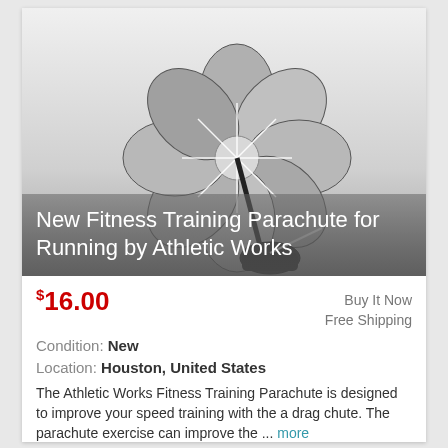[Figure (photo): Product photo of a silver/gray fitness training parachute for running by Athletic Works, shown open and attached to a black strap with a carrying bag below, on a white-to-gray gradient background.]
New Fitness Training Parachute for Running by Athletic Works
$16.00
Buy It Now
Free Shipping
Condition: New
Location: Houston, United States
The Athletic Works Fitness Training Parachute is designed to improve your speed training with the a drag chute. The parachute exercise can improve the ... more